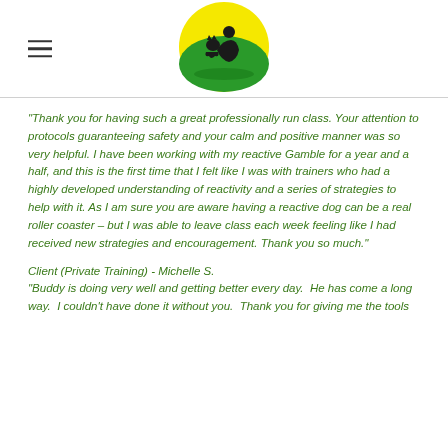[Figure (logo): Circular logo with yellow top half and green bottom half, showing silhouette of a person sitting with a cat]
"Thank you for having such a great professionally run class. Your attention to protocols guaranteeing safety and your calm and positive manner was so very helpful. I have been working with my reactive Gamble for a year and a half, and this is the first time that I felt like I was with trainers who had a highly developed understanding of reactivity and a series of strategies to help with it. As I am sure you are aware having a reactive dog can be a real roller coaster – but I was able to leave class each week feeling like I had received new strategies and encouragement. Thank you so much."
Client (Private Training) - Michelle S.
"Buddy is doing very well and getting better every day.  He has come a long way.  I couldn't have done it without you.  Thank you for giving me the tools